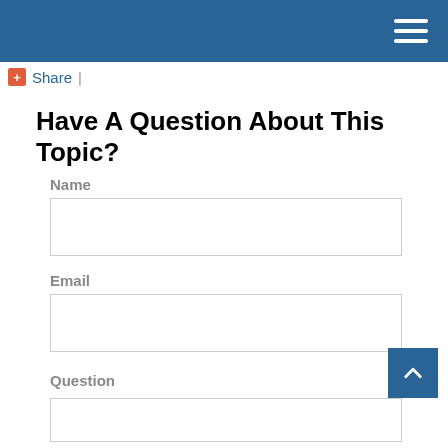Navigation header with hamburger menu
+Share |
Have A Question About This Topic?
Name
Email
Question